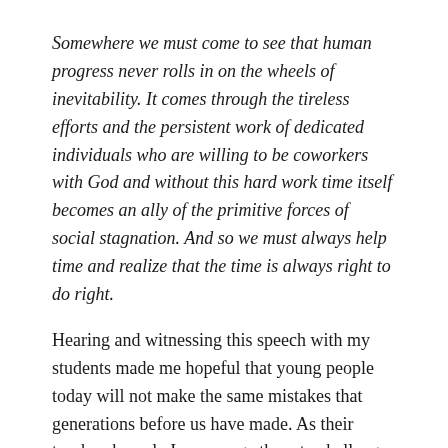Somewhere we must come to see that human progress never rolls in on the wheels of inevitability. It comes through the tireless efforts and the persistent work of dedicated individuals who are willing to be coworkers with God and without this hard work time itself becomes an ally of the primitive forces of social stagnation. And so we must always help time and realize that the time is always right to do right.
Hearing and witnessing this speech with my students made me hopeful that young people today will not make the same mistakes that generations before us have made. As their teacher, how do I encourage them to challenge the status quo and dedicate themselves to the “tireless efforts